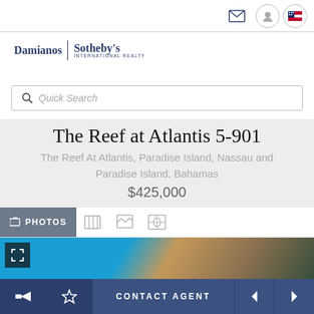Damianos | Sotheby's International Realty
[Figure (screenshot): Search bar with magnifying glass icon and Quick Search placeholder text]
The Reef at Atlantis 5-901
The Reef At Atlantis, Paradise Island, Nassau and Paradise Island, Bahamas
$425,000
[Figure (photo): Partial view of Atlantis resort property showing blue water and stone/wood architectural elements]
CONTACT AGENT